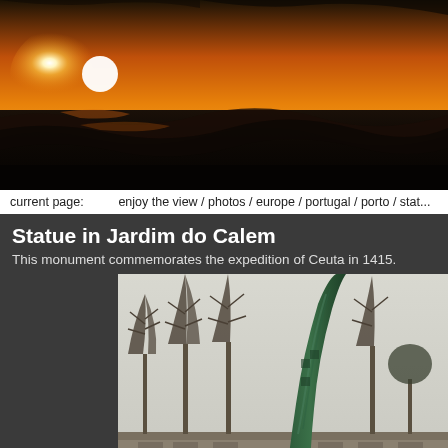[Figure (photo): Sunset over the ocean with orange sky and dark waves, header banner image]
current page:   enjoy the view / photos / europe / portugal / porto / stat...
Statue in Jardim do Calem
This monument commemorates the expedition of Ceuta in 1415.
[Figure (photo): A tall bronze/green patinated monument or statue leaning diagonally against a pale sky, surrounded by bare winter trees and a low building in the background — Statue in Jardim do Calem, Porto, Portugal]